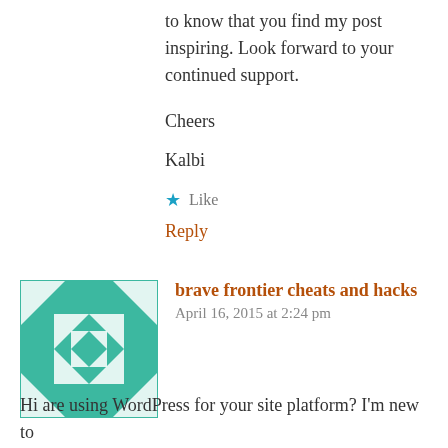to know that you find my post inspiring. Look forward to your continued support.
Cheers
Kalbi
★ Like
Reply
[Figure (illustration): Green and white geometric quilt-like square avatar icon]
brave frontier cheats and hacks
April 16, 2015 at 2:24 pm
Hi are using WordPress for your site platform? I'm new to the blog world but I'm trying to get started and create my own. Do you